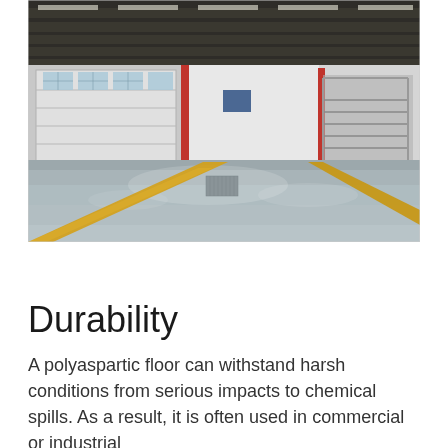[Figure (photo): Interior of a large industrial or commercial building with a highly polished gray epoxy/polyaspartic floor featuring yellow stripe markings. Large garage doors are visible on the left side, a staircase on the right, and fluorescent lighting on the ceiling.]
Durability
A polyaspartic floor can withstand harsh conditions from serious impacts to chemical spills. As a result, it is often used in commercial or industrial